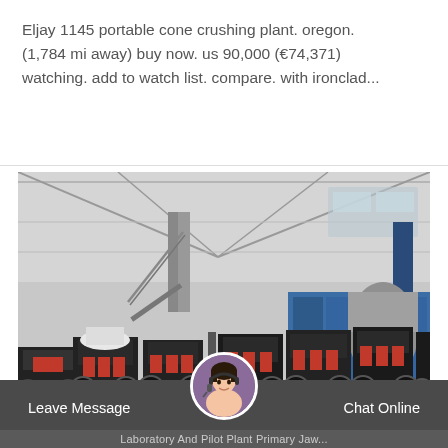Eljay 1145 portable cone crushing plant. oregon. (1,784 mi away) buy now. us 90,000 (€74,371) watching. add to watch list. compare. with ironclad...
[Figure (photo): Industrial factory warehouse interior showing multiple cone crushing machines (black and red) lined up on a concrete floor, with steel structure framework and blue storage units in the background]
Leave Message
Chat Online
Laboratory And Pilot Plant Primary Jaw...